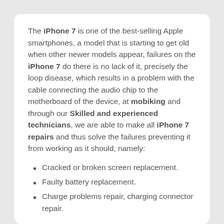The iPhone 7 is one of the best-selling Apple smartphones, a model that is starting to get old when other newer models appear, failures on the iPhone 7 do there is no lack of it, precisely the loop disease, which results in a problem with the cable connecting the audio chip to the motherboard of the device, at mobiking and through our Skilled and experienced technicians, we are able to make all iPhone 7 repairs and thus solve the failures preventing it from working as it should, namely:
Cracked or broken screen replacement.
Faulty battery replacement.
Charge problems repair, charging connector repair.